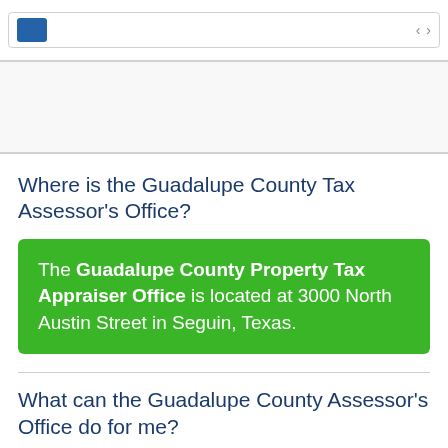[Figure (screenshot): Top navigation bar with blue icon and nav arrows]
[Figure (other): Gray advertisement block]
Where is the Guadalupe County Tax Assessor's Office?
The Guadalupe County Property Tax Appraiser Office is located at 3000 North Austin Street in Seguin, Texas.
What can the Guadalupe County Assessor's Office do for me?
The Guadalupe County Tax Assessor's Office oversees the appraisal and assessment of